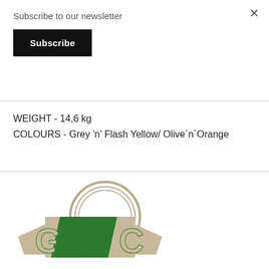×
Subscribe to our newsletter
Subscribe
WEIGHT - 14,6 kg
COLOURS - Grey 'n' Flash Yellow/ Olive´n´Orange
[Figure (logo): GRC logo with tan/beige lettering and green accent, circular arc above the letters]